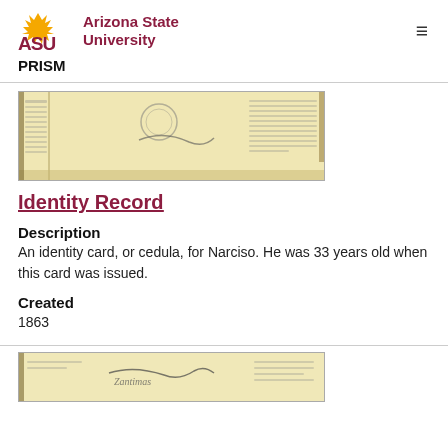ASU Arizona State University | PRISM
[Figure (photo): Scanned historical document — identity card (cedula) with handwritten text and a stamp/seal, yellowed paper]
Identity Record
Description
An identity card, or cedula, for Narciso. He was 33 years old when this card was issued.
Created
1863
[Figure (photo): Scanned historical document — another identity card (cedula) with handwritten text, partially visible at bottom of page]